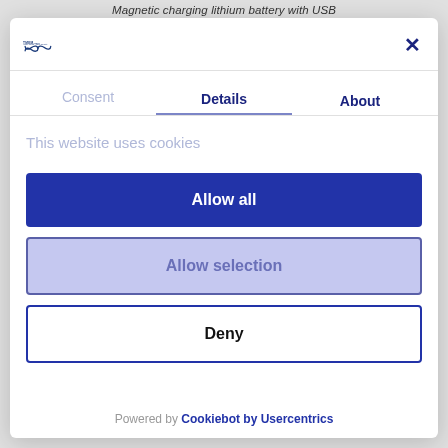Magnetic charging lithium battery with USB
[Figure (logo): TMEMstore logo with infinity symbol]
X (close button)
Consent	Details	About
This website uses cookies
Allow all
Allow selection
Deny
Powered by Cookiebot by Usercentrics